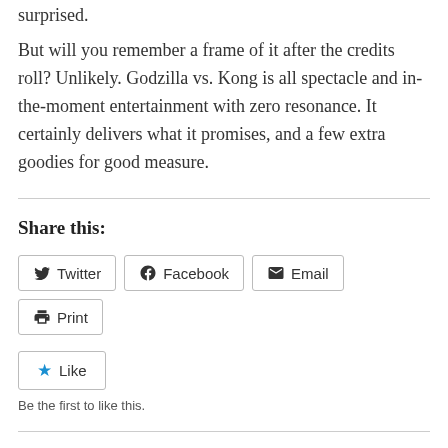surprised.
But will you remember a frame of it after the credits roll? Unlikely. Godzilla vs. Kong is all spectacle and in-the-moment entertainment with zero resonance. It certainly delivers what it promises, and a few extra goodies for good measure.
Share this:
Twitter | Facebook | Email | Print
Like
Be the first to like this.
Related
Film Review – Land